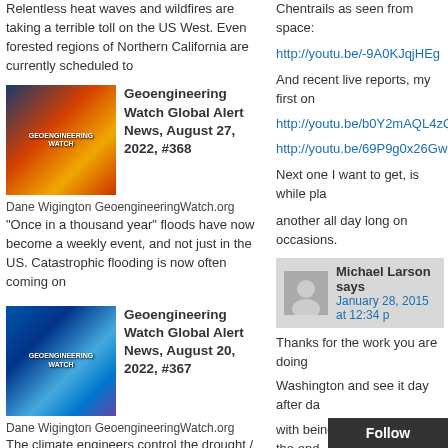Relentless heat waves and wildfires are taking a terrible toll on the US West. Even forested regions of Northern California are currently scheduled to
[Figure (illustration): Thumbnail image for Geoengineering Watch article with colorful satellite/weather imagery]
Geoengineering Watch Global Alert News, August 27, 2022, #368
Dane Wigington GeoengineeringWatch.org "Once in a thousand year" floods have now become a weekly event, and not just in the US. Catastrophic flooding is now often coming on
[Figure (illustration): Thumbnail image for Geoengineering Watch article showing hurricane/cyclone satellite imagery]
Geoengineering Watch Global Alert News, August 20, 2022, #367
Dane Wigington GeoengineeringWatch.org The climate engineers control the drought / deluge global rain scenarios all over the world. In forests of Northern California there is no weather deviation,
[Figure (illustration): Thumbnail image for Geoengineering Watch article with red/orange satellite imagery]
Geoengineering Watch Global Alert News, August 13, 2022, #366
Chentrails as seen from space:
http://youtu.be/-9A0KJqjHEg
And recent live reports, my first on
http://youtu.be/b0Y2mAQL4zQ
http://youtu.be/69P9g0x26Gw
Next one I want to get, is while pla
another all day long on occasions.
Michael Larson says
January 28, 2015 at 12:34 p
Thanks for the work you are doing
Washington and see it day after da
with being chemclouds by the end
sunshine and clear s